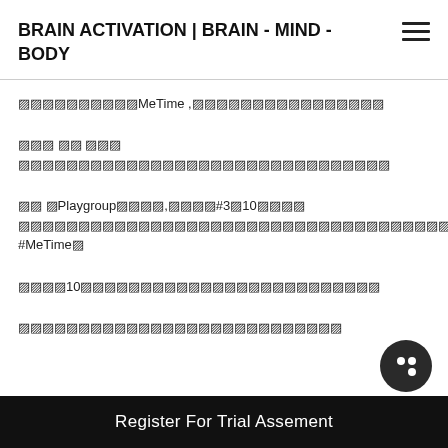BRAIN ACTIVATION | BRAIN - MIND - BODY
□□□□□□□□□□MeTime ,□□□□□□□□□□□□□□□□
□□□ □□ □□□ □□□□□□□□□□□□□□□□□□□□□□□□□□□□□□
□□ □Playgroup□□□□□,□□□□□#3□10□□□□□ □□□□□□□□□□□□□□□□□□□□□□□□□□□□□□□□□□□□□ #MeTime□
□□□□□10□□□□□□□□□□□□□□□□□□□□□□□□□
□□□□□□□□□□□□□□□□□□□□□□□□□□□□□□□□□□□□□□□□□□□□□
Register For Trial Assement